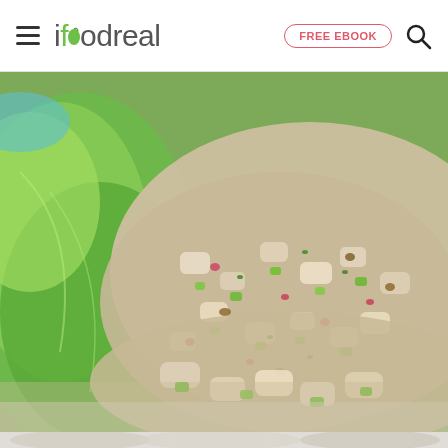ifoodreal — FREE EBOOK (button) + search icon
[Figure (photo): Close-up photograph of a chicken salad with diced vegetables (celery, red onion, herbs, and nuts) served on green lettuce leaves. The salad is creamy and textured, with vibrant green, red, and white colors.]